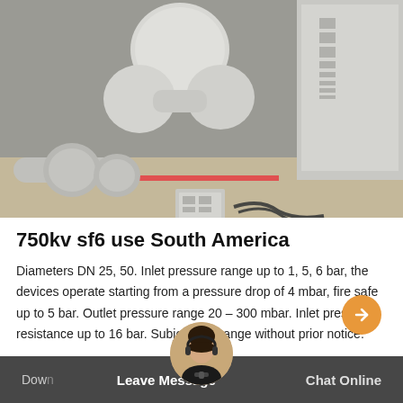[Figure (photo): Industrial SF6 gas equipment/machinery in gray/white, including large cylindrical tanks, pipes, valves, and an electrical control cabinet, installed in an industrial room.]
750kv sf6 use South America
Diameters DN 25, 50. Inlet pressure range up to 1, 5, 6 bar, the devices operate starting from a pressure drop of 4 mbar, fire safe up to 5 bar. Outlet pressure range 20 – 300 mbar. Inlet pressure resistance up to 16 bar. Subject to change without prior notice.
Down  Leave Message    Chat Online